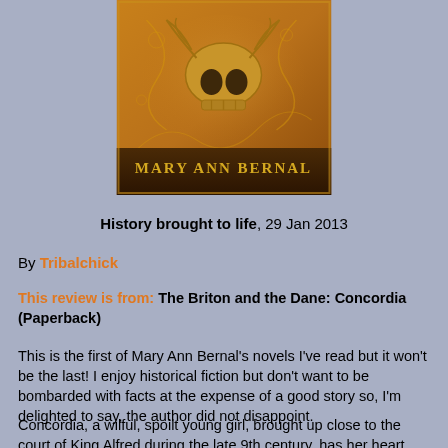[Figure (illustration): Book cover of 'The Briton and the Dane: Concordia' by Mary Ann Bernal. Gold/amber colored cover with decorative patterns and an animal skull motif. Author name 'MARY ANN BERNAL' displayed in gold text at the bottom of the cover.]
History brought to life, 29 Jan 2013
By Tribalchick
This review is from: The Briton and the Dane: Concordia (Paperback)
This is the first of Mary Ann Bernal's novels I've read but it won't be the last! I enjoy historical fiction but don't want to be bombarded with facts at the expense of a good story so, I'm delighted to say, the author did not disappoint.
Concordia, a wilful, spoilt young girl, brought up close to the court of King Alfred during the late 9th century, has her heart